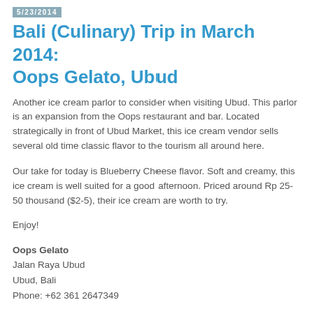5/23/2014
Bali (Culinary) Trip in March 2014: Oops Gelato, Ubud
Another ice cream parlor to consider when visiting Ubud. This parlor is an expansion from the Oops restaurant and bar. Located strategically in front of Ubud Market, this ice cream vendor sells several old time classic flavor to the tourism all around here.
Our take for today is Blueberry Cheese flavor. Soft and creamy, this ice cream is well suited for a good afternoon. Priced around Rp 25-50 thousand ($2-5), their ice cream are worth to try.
Enjoy!
Oops Gelato
Jalan Raya Ubud
Ubud, Bali
Phone: +62 361 2647349